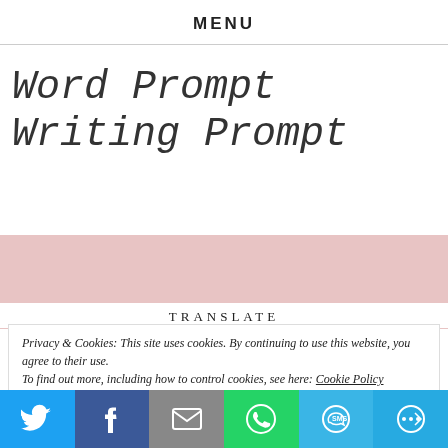MENU
Word Prompt Writing Prompt
TRANSLATE
Privacy & Cookies: This site uses cookies. By continuing to use this website, you agree to their use.
To find out more, including how to control cookies, see here: Cookie Policy